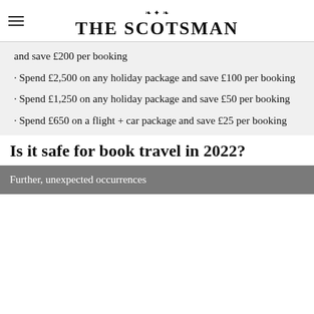THE SCOTSMAN
and save £200 per booking
· Spend £2,500 on any holiday package and save £100 per booking
· Spend £1,250 on any holiday package and save £50 per booking
· Spend £650 on a flight + car package and save £25 per booking
Is it safe for book travel in 2022?
Further, unexpected occurrences